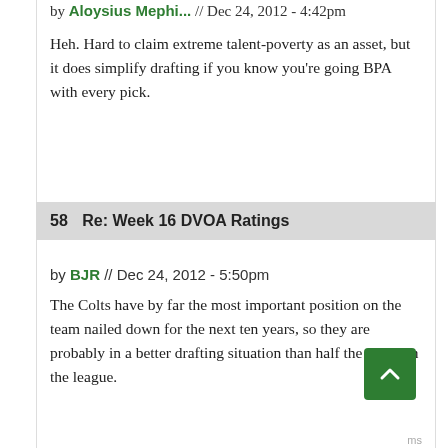by Aloysius Mephi... // Dec 24, 2012 - 4:42pm
Heh. Hard to claim extreme talent-poverty as an asset, but it does simplify drafting if you know you're going BPA with every pick.
58   Re: Week 16 DVOA Ratings
by BJR // Dec 24, 2012 - 5:50pm
The Colts have by far the most important position on the team nailed down for the next ten years, so they are probably in a better drafting situation than half the teams in the league.